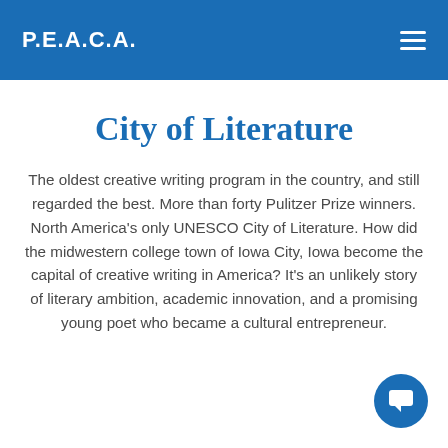P.E.A.C.A.
City of Literature
The oldest creative writing program in the country, and still regarded the best. More than forty Pulitzer Prize winners. North America's only UNESCO City of Literature. How did the midwestern college town of Iowa City, Iowa become the capital of creative writing in America? It's an unlikely story of literary ambition, academic innovation, and a promising young poet who became a cultural entrepreneur.